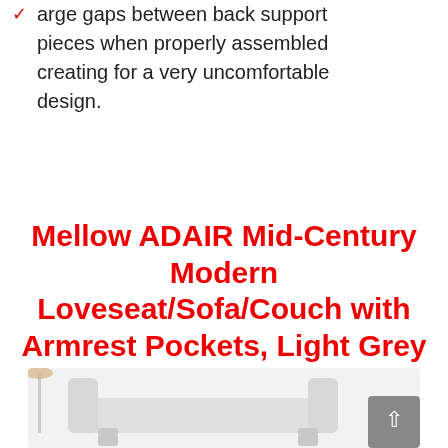arge gaps between back support pieces when properly assembled creating for a very uncomfortable design.
Mellow ADAIR Mid-Century Modern Loveseat/Sofa/Couch with Armrest Pockets, Light Grey
[Figure (photo): Product photo area showing a light grey mid-century modern loveseat/sofa, partially visible, with a scroll-to-top button in the bottom right corner. Background is light grey.]